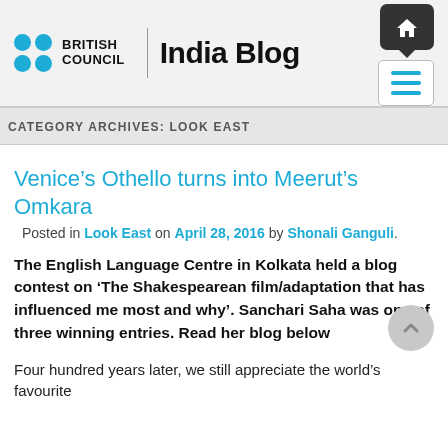BRITISH COUNCIL | India Blog
CATEGORY ARCHIVES: LOOK EAST
Venice's Othello turns into Meerut's Omkara
Posted in Look East on April 28, 2016 by Shonali Ganguli.
The English Language Centre in Kolkata held a blog contest on ‘The Shakespearean film/adaptation that has influenced me most and why’. Sanchari Saha was one of three winning entries. Read her blog below
Four hundred years later, we still appreciate the world’s favourite